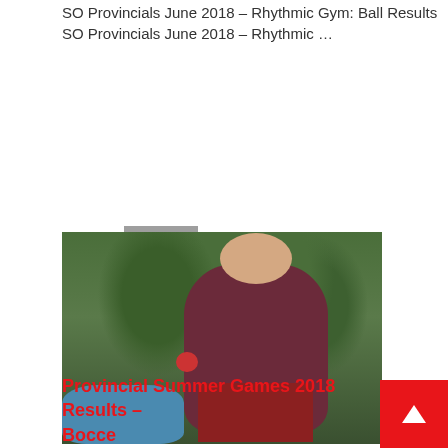SO Provincials June 2018 – Rhythmic Gym: Ball Results
SO Provincials June 2018 – Rhythmic …
READ MORE
[Figure (photo): An athlete in a maroon hoodie and red pants preparing to throw a bocce ball outdoors, with another person in blue crouching in the background, set against lush green trees.]
Provincial Summer Games 2018 Results – Bocce